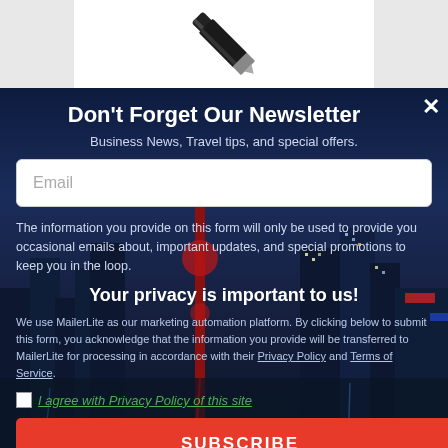[Figure (photo): Top white/grey background with a black pen/stylus object visible, partially cropped]
Don't Forget Our Newsletter
Business News, Travel tips, and special offers.
Email (input field placeholder)
The information you provide on this form will only be used to provide you occasional emails about, important updates, and special promotions to keep you in the loop.
Your privacy is important to us!
We use MailerLite as our marketing automation platform. By clicking below to submit this form, you acknowledge that the information you provide will be transferred to MailerLite for processing in accordance with their Privacy Policy and Terms of Service.
I agree with Privacy Policy of this site
SUBSCRIBE